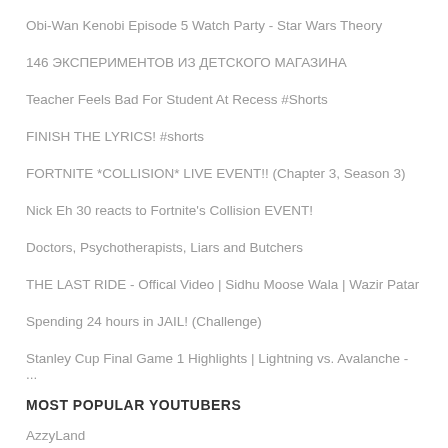Obi-Wan Kenobi Episode 5 Watch Party - Star Wars Theory
146 ЭКСПЕРИМЕНТОВ ИЗ ДЕТСКОГО МАГАЗИНА
Teacher Feels Bad For Student At Recess #Shorts
FINISH THE LYRICS! #shorts
FORTNITE *COLLISION* LIVE EVENT!! (Chapter 3, Season 3)
Nick Eh 30 reacts to Fortnite's Collision EVENT!
Doctors, Psychotherapists, Liars and Butchers
THE LAST RIDE - Offical Video | Sidhu Moose Wala | Wazir Patar
Spending 24 hours in JAIL! (Challenge)
Stanley Cup Final Game 1 Highlights | Lightning vs. Avalanche - ...
MOST POPULAR YOUTUBERS
AzzyLand